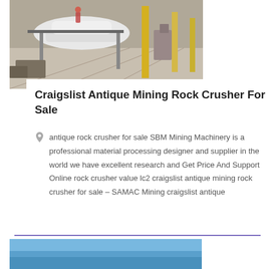[Figure (photo): Industrial factory/workshop scene with machinery and equipment on a concrete floor, workers visible in background, yellow structural columns.]
Craigslist Antique Mining Rock Crusher For Sale
antique rock crusher for sale SBM Mining Machinery is a professional material processing designer and supplier in the world we have excellent research and Get Price And Support Online rock crusher value lc2 craigslist antique mining rock crusher for sale – SAMAC Mining craigslist antique
[Figure (photo): Partial view of another image at the bottom of the page, light blue/grey background.]